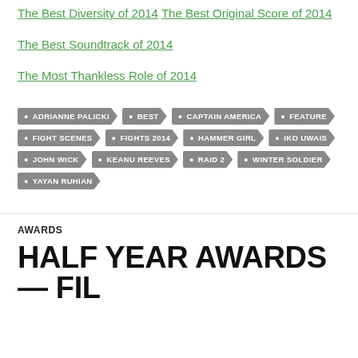The Best Diversity of 2014
The Best Original Score of 2014
The Best Soundtrack of 2014
The Most Thankless Role of 2014
Tags: ADRIANNE PALICKI, BEST, CAPTAIN AMERICA, FEATURE, FIGHT SCENES, FIGHTS 2014, HAMMER GIRL, IKO UWAIS, JOHN WICK, KEANU REEVES, RAID 2, WINTER SOLDIER, YAYAN RUHIAN
AWARDS
HALF YEAR AWARDS — FILM